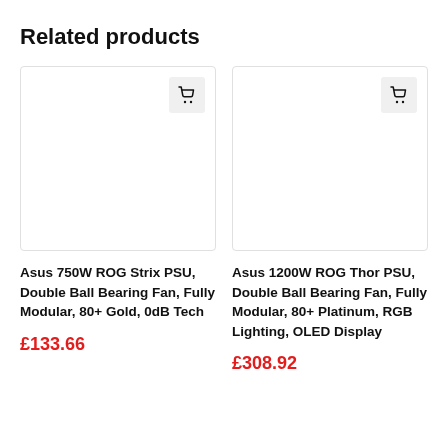Related products
[Figure (screenshot): Product image placeholder with cart icon button for Asus 750W ROG Strix PSU]
Asus 750W ROG Strix PSU, Double Ball Bearing Fan, Fully Modular, 80+ Gold, 0dB Tech
£133.66
[Figure (screenshot): Product image placeholder with cart icon button for Asus 1200W ROG Thor PSU]
Asus 1200W ROG Thor PSU, Double Ball Bearing Fan, Fully Modular, 80+ Platinum, RGB Lighting, OLED Display
£308.92